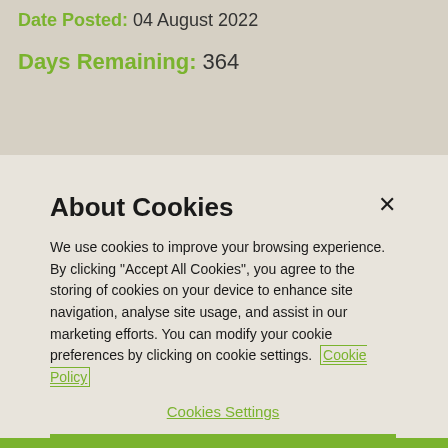Date Posted: 04 August 2022
Days Remaining: 364
About Cookies
We use cookies to improve your browsing experience. By clicking "Accept All Cookies", you agree to the storing of cookies on your device to enhance site navigation, analyse site usage, and assist in our marketing efforts. You can modify your cookie preferences by clicking on cookie settings. Cookie Policy
Cookies Settings
Reject All
Accept All Cookies